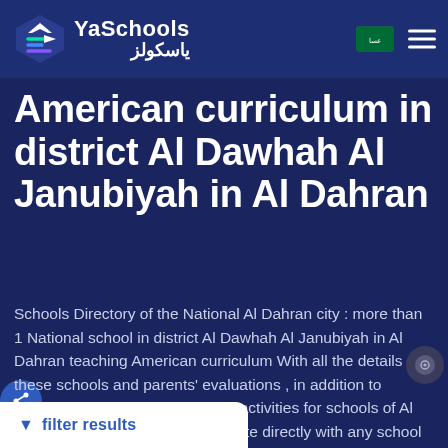YaSchools | ياسكولز
American curriculum in district Al Dawhah Al Janubiyah in Al Dahran
Schools Directory of the National Al Dahran city : more than 1 National school in district Al Dawhah Al Janubiyah in Al Dahran teaching American curriculum With all the details of these schools and parents' evaluations , in addition to various pictures of buildings and activities for schools of Al Dahran. You can also communicate directly with any school in city of Al Dahran through the methods of communication
filter results